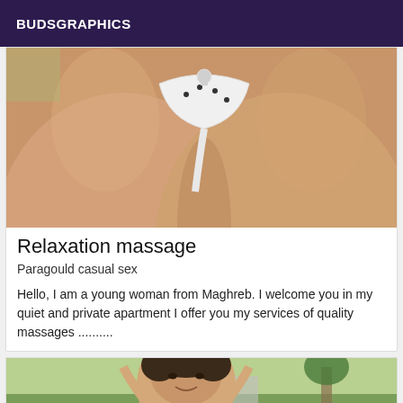BUDSGRAPHICS
[Figure (photo): Close-up photo of a person wearing a white bikini bottom, showing lower body from behind]
Relaxation massage
Paragould casual sex
Hello, I am a young woman from Maghreb. I welcome you in my quiet and private apartment I offer you my services of quality massages ..........
[Figure (photo): Photo of a young man with short dark hair, smiling, outdoors with greenery in background]